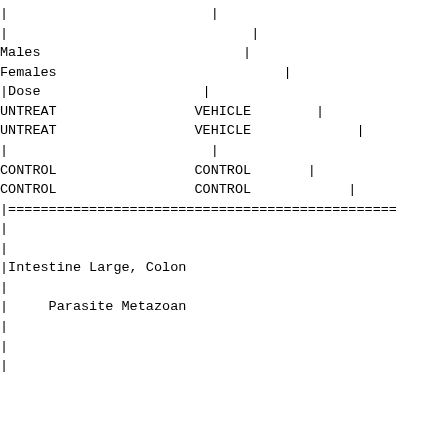| | |  | | |  |
| | |  |  | | |  |
| Males |  |  | | |  |
| Females |  |  |  | | |  |
| |Dose |  | | |  |
| UNTREAT |  | VEHICLE | | |
| UNTREAT |  | VEHICLE |  | | |
| | |  | | |  |
| CONTROL |  | CONTROL | | |
| CONTROL |  | CONTROL |  | | |
| |================================================ |
| | |
| | |
| |Intestine Large, Colon |
| | |
| |     Parasite Metazoan |
| | |
| | |
| | |